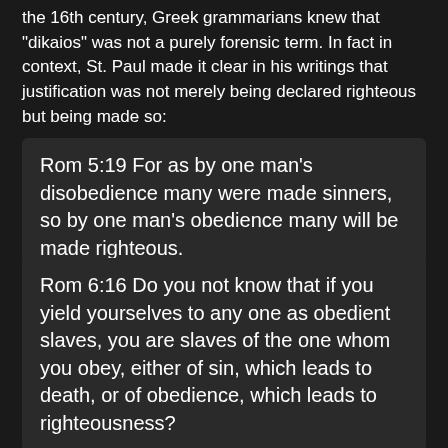the 16th century, Greek grammarians knew that 'dikaios' was not a purely forensic term. In fact in context, St. Paul made it clear in his writings that justification was not merely being declared righteous but being made so:
Rom 5:19 For as by one man's disobedience many were made sinners, so by one man's obedience many will be made righteous.
Rom 6:16 Do you not know that if you yield yourselves to any one as obedient slaves, you are slaves of the one whom you obey, either of sin, which leads to death, or of obedience, which leads to righteousness?